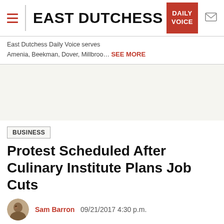EAST DUTCHESS — Daily Voice
East Dutchess Daily Voice serves
Amenia, Beekman, Dover, Millbroo… SEE MORE
BUSINESS
Protest Scheduled After Culinary Institute Plans Job Cuts
Sam Barron   09/21/2017 4:30 p.m.
[Figure (other): Social sharing buttons: Facebook, Twitter, LinkedIn, Share, Print, Comment]
[Figure (photo): Partial view of a building with a steeple against a blue sky with trees]